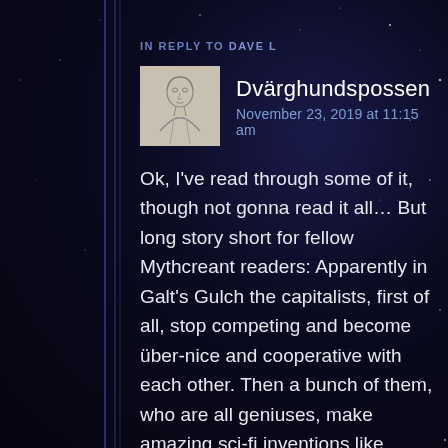IN REPLY TO DAVE L
[Figure (illustration): Small avatar illustration of a person's face/upper body, drawn in pencil sketch style on a light background]
Dvärghundspossen
November 23, 2019 at 11:15 am
Ok, I've read through some of it, though not gonna read it all… But long story short for fellow Mythcreant readers: Apparently in Galt's Gulch the capitalists, first of all, stop competing and become über-nice and cooperative with each other. Then a bunch of them, who are all geniuses, make amazing sci-fi inventions like infinite energy generators and robot workers, so suddenly the whole scenario is a lot more like Star